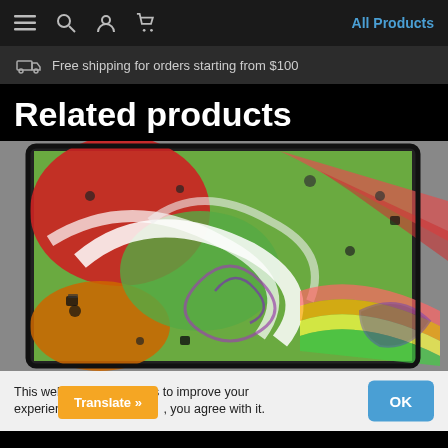Navigation bar with hamburger menu, search, account, cart icons, and All Products link
Free shipping for orders starting from $100
Related products
[Figure (photo): Close-up photo of a colorful abstract swirling artwork on a phone screen, featuring vivid red, green, blue, orange, yellow, and purple colors with swirling patterns and small dots, displayed on a dark-framed device against a gray background.]
This website uses cookies to improve your experience. If you co[ntinue], you agree with it.